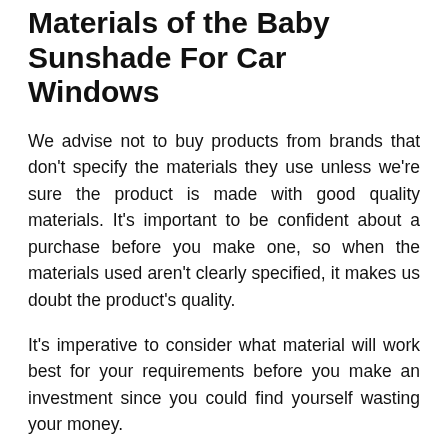Materials of the Baby Sunshade For Car Windows
We advise not to buy products from brands that don't specify the materials they use unless we're sure the product is made with good quality materials. It's important to be confident about a purchase before you make one, so when the materials used aren't clearly specified, it makes us doubt the product's quality.
It's imperative to consider what material will work best for your requirements before you make an investment since you could find yourself wasting your money.
Types